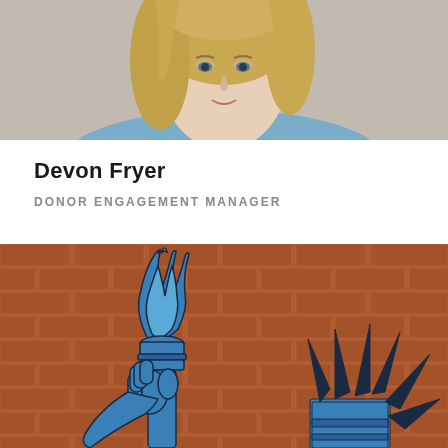[Figure (photo): Cropped portrait photo of Devon Fryer, showing head and shoulders with blonde hair, light blue top, against a neutral background]
Devon Fryer
DONOR ENGAGEMENT MANAGER
[Figure (illustration): Illustration of the Statue of Liberty torch and crown in blue and black, against a brick wall background]